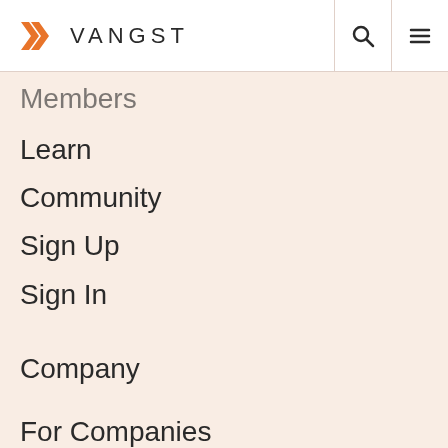VANGST
Members
Learn
Community
Sign Up
Sign In
Company
For Companies
Cannabis Career Fairs
Vangst Careers
Help
Contact Us